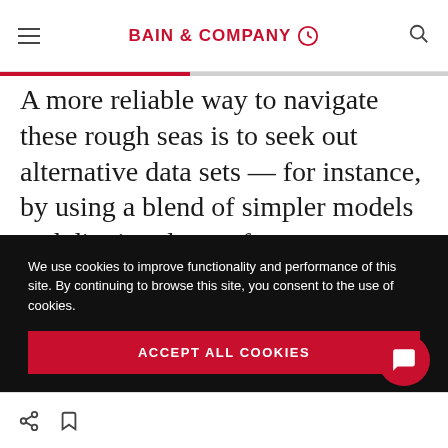BAIN & COMPANY
A more reliable way to navigate these rough seas is to seek out alternative data sets — for instance, by using a blend of simpler models and digging deeper for non-obvious, sometimes unstructured “dark matter” data. Such data often lives in the minds of the people who apply forecasts (think of employees’ knowledge about
We use cookies to improve functionality and performance of this site. By continuing to browse this site, you consent to the use of cookies.
ACCEPT ALL COOKIES